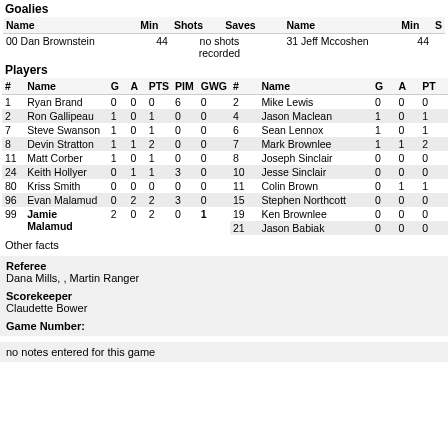Goalies
| Name | Min | Shots | Saves | Name | Min | S |
| --- | --- | --- | --- | --- | --- | --- |
| 00 Dan Brownstein | 44 | no shots recorded |  | 31 Jeff Mccoshen | 44 |  |
Players
| # | Name | G | A | PTS | PIM | GWG | # | Name | G | A | PT |
| --- | --- | --- | --- | --- | --- | --- | --- | --- | --- | --- | --- |
| 1 | Ryan Brand | 0 | 0 | 0 | 6 | 0 | 2 | Mike Lewis | 0 | 0 | 0 |
| 2 | Ron Gallipeau | 1 | 0 | 1 | 0 | 0 | 4 | Jason Maclean | 1 | 0 | 1 |
| 7 | Steve Swanson | 1 | 0 | 1 | 0 | 0 | 6 | Sean Lennox | 1 | 0 | 1 |
| 8 | Devin Stratton | 1 | 1 | 2 | 0 | 0 | 7 | Mark Brownlee | 1 | 1 | 2 |
| 11 | Matt Corber | 1 | 0 | 1 | 0 | 0 | 8 | Joseph Sinclair | 0 | 0 | 0 |
| 24 | Keith Hollyer | 0 | 1 | 1 | 3 | 0 | 10 | Jesse Sinclair | 0 | 0 | 0 |
| 80 | Kriss Smith | 0 | 0 | 0 | 0 | 0 | 11 | Colin Brown | 0 | 1 | 1 |
| 96 | Evan Malamud | 0 | 2 | 2 | 3 | 0 | 15 | Stephen Northcott | 0 | 0 | 0 |
| 99 | Jamie Malamud | 2 | 0 | 2 | 0 | 1 | 19 | Ken Brownlee | 0 | 0 | 0 |
|  |  |  |  |  |  |  | 21 | Jason Babiak | 0 | 0 | 0 |
Other facts
Referee
Dana Mills, , Martin Ranger
Scorekeeper
Claudette Bower
Game Number:
no notes entered for this game